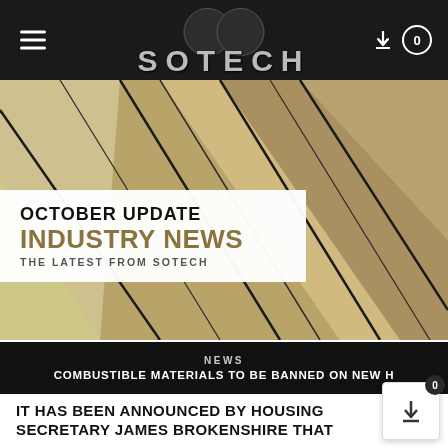SOTECH
[Figure (screenshot): Sotech website header with hamburger menu, SOTECH logo with overlapping circles, and download/cart icons on dark background]
[Figure (photo): Close-up photo of diagonal metal cladding panels in tan/beige color]
OCTOBER UPDATE
INDUSTRY NEWS
THE LATEST FROM SOTECH
NEWS
COMBUSTIBLE MATERIALS TO BE BANNED ON NEW H
IT HAS BEEN ANNOUNCED BY HOUSING SECRETARY JAMES BROKENSHIRE THAT